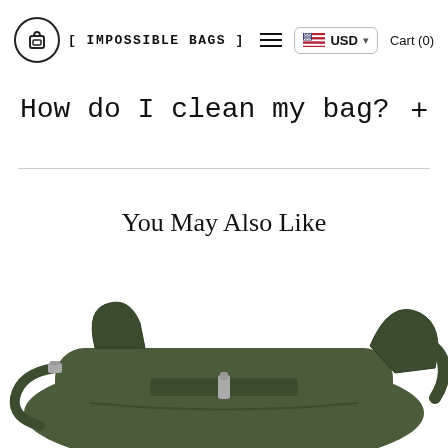[ IMPOSSIBLE BAGS ] | USD | Cart (0)
How do I clean my bag?
You May Also Like
[Figure (photo): A green/olive colored crossbody messenger bag with shoulder strap and metal zipper hardware, photographed on a white background]